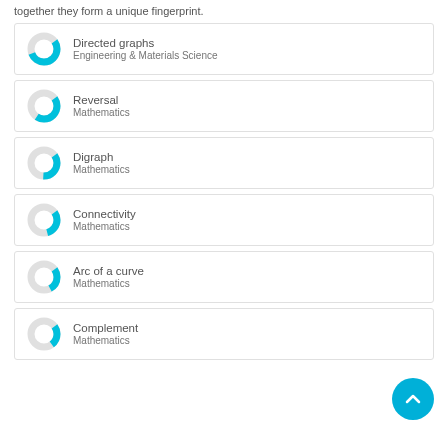together they form a unique fingerprint.
Directed graphs — Engineering & Materials Science
Reversal — Mathematics
Digraph — Mathematics
Connectivity — Mathematics
Arc of a curve — Mathematics
Complement — Mathematics